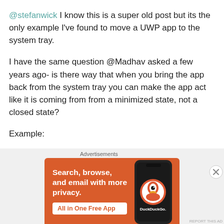@stefanwick I know this is a super old post but its the only example I've found to move a UWP app to the system tray.
I have the same question @Madhav asked a few years ago- is there way that when you bring the app back from the system tray you can make the app act like it is coming from from a minimized state, not a closed state?
Example:
Lets say your first page is a page with a button in the
[Figure (screenshot): DuckDuckGo advertisement banner with orange background. Text reads: 'Search, browse, and email with more privacy. All in One Free App'. Shows a smartphone with DuckDuckGo logo. Labeled 'Advertisements'.]